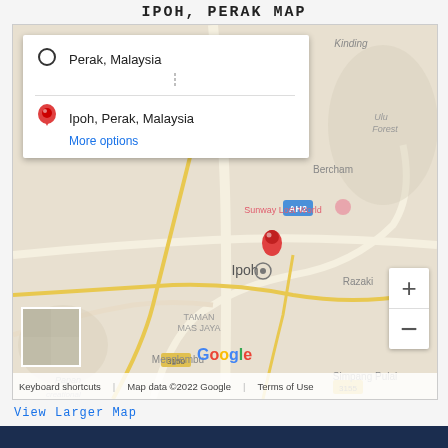IPOH, PERAK MAP
[Figure (map): Google Map showing Ipoh, Perak, Malaysia with directions panel overlay showing 'Perak, Malaysia' as origin and 'Ipoh, Perak, Malaysia' as destination, with 'More options' link. Map shows surrounding areas including Kinding, Ulu Forest, Bercham, Sunway Lost World, Razaki, Taman Mas Jaya, Menglembu, Papan, Simpang Pulai. Includes zoom controls, satellite thumbnail, Google logo, and map footer with 'Keyboard shortcuts', 'Map data ©2022 Google', 'Terms of Use'.]
View Larger Map